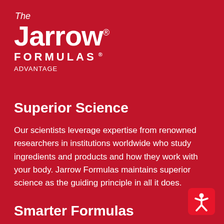[Figure (logo): The Jarrow Formulas Advantage logo in white text on red background]
Superior Science
Our scientists leverage expertise from renowned researchers in institutions worldwide who study ingredients and products and how they work with your body. Jarrow Formulas maintains superior science as the guiding principle in all it does.
[Figure (illustration): Accessibility icon - white figure with arms and legs outstretched on red rounded square]
Smarter Formulas